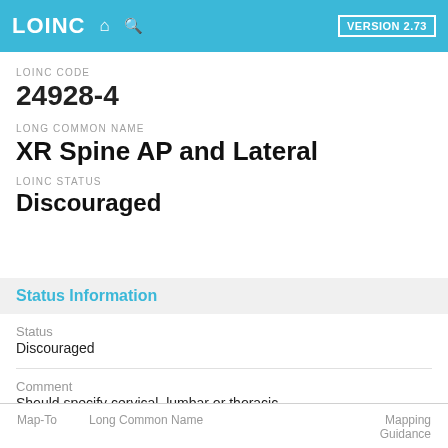LOINC | VERSION 2.73
LOINC CODE
24928-4
LONG COMMON NAME
XR Spine AP and Lateral
LOINC STATUS
Discouraged
Status Information
Status
Discouraged
Comment
Should specify cervical, lumbar or thoracic.
| Map-To | Long Common Name | Mapping Guidance |
| --- | --- | --- |